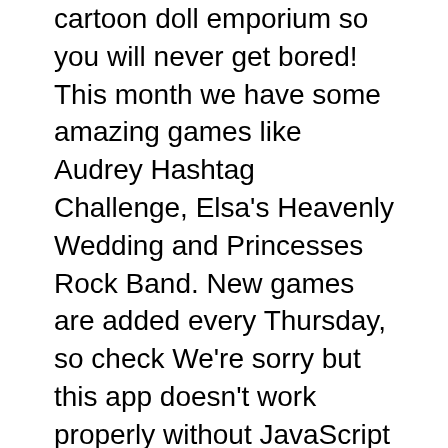cartoon doll emporium so you will never get bored! This month we have some amazing games like Audrey Hashtag Challenge, Elsa's Heavenly Wedding and Princesses Rock Band. New games are added every Thursday, so check We're sorry but this app doesn't work properly without JavaScript enabled. Please enable it to continue.
We are GirlGames!You've come to the right place if you want the ideal mixture of Dress Up Games, Cooking Games, and Makeover Games!We've gathered the greatest girl gamers (that's you!) to tell us about the games they want and the top-tier developers to deliver the Most Popular games on the web! We didn't name our site after our perfect collection of Arcade Classics or Skate